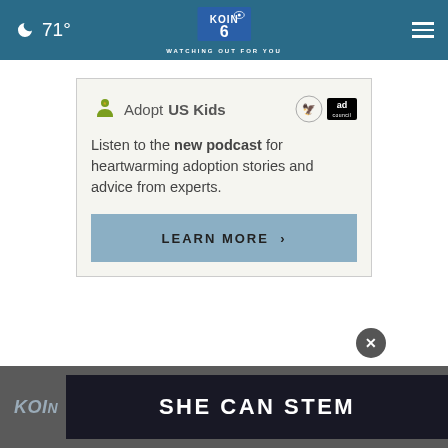🌙 71° | KOIN 6 CBS | WATCHING OUT FOR YOU
[Figure (infographic): AdoptUSKids advertisement with HHS eagle logo and Ad Council logo. Text: 'Listen to the new podcast for heartwarming adoption stories and advice from experts.' Button: LEARN MORE >]
KOIN
SHE CAN STEM